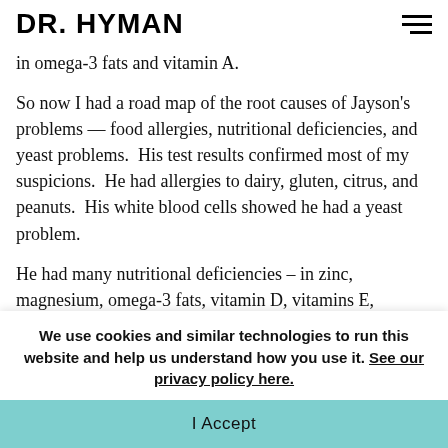DR. HYMAN
in omega-3 fats and vitamin A.
So now I had a road map of the root causes of Jayson's problems — food allergies, nutritional deficiencies, and yeast problems.  His test results confirmed most of my suspicions.  He had allergies to dairy, gluten, citrus, and peanuts.  His white blood cells showed he had a yeast problem.
He had many nutritional deficiencies – in zinc, magnesium, omega-3 fats, vitamin D, vitamins E,
We use cookies and similar technologies to run this website and help us understand how you use it. See our privacy policy here.
I Accept